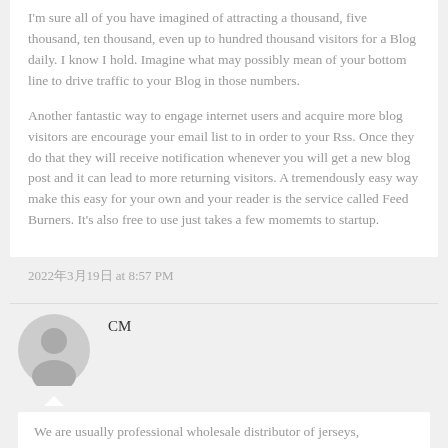I'm sure all of you have imagined of attracting a thousand, five thousand, ten thousand, even up to hundred thousand visitors for a Blog daily. I know I hold. Imagine what may possibly mean of your bottom line to drive traffic to your Blog in those numbers.
Another fantastic way to engage internet users and acquire more blog visitors are encourage your email list to in order to your Rss. Once they do that they will receive notification whenever you will get a new blog post and it can lead to more returning visitors. A tremendously easy way make this easy for your own and your reader is the service called Feed Burners. It's also free to use just takes a few momemts to startup.
2022年3月19日 at 8:57 PM
CM
[Figure (illustration): Generic user avatar icon — grey circle with a person silhouette]
We are usually professional wholesale distributor of jerseys, specialized in supplying Inexpensive Jerseys